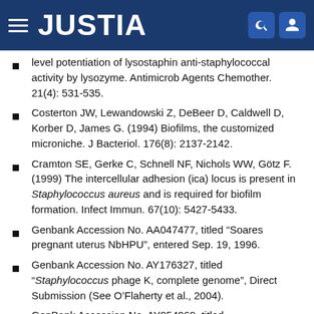JUSTIA
level potentiation of lysostaphin anti-staphylococcal activity by lysozyme. Antimicrob Agents Chemother. 21(4): 531-535.
Costerton JW, Lewandowski Z, DeBeer D, Caldwell D, Korber D, James G. (1994) Biofilms, the customized microniche. J Bacteriol. 176(8): 2137-2142.
Cramton SE, Gerke C, Schnell NF, Nichols WW, Götz F. (1999) The intercellular adhesion (ica) locus is present in Staphylococcus aureus and is required for biofilm formation. Infect Immun. 67(10): 5427-5433.
Genbank Accession No. AA047477, titled "Soares pregnant uterus NbHPU", entered Sep. 19, 1996.
Genbank Accession No. AY176327, titled "Staphylococcus phage K, complete genome", Direct Submission (See O'Flaherty et al., 2004).
GenBank Accession No. AY954969, titled